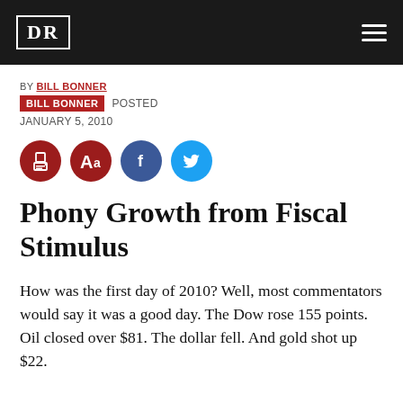DR
BY BILL BONNER
BILL BONNER POSTED
JANUARY 5, 2010
[Figure (infographic): Four circular social/action buttons: print (dark red), font size Aa (dark red), Facebook (blue), Twitter (cyan)]
Phony Growth from Fiscal Stimulus
How was the first day of 2010? Well, most commentators would say it was a good day. The Dow rose 155 points. Oil closed over $81. The dollar fell. And gold shot up $22.